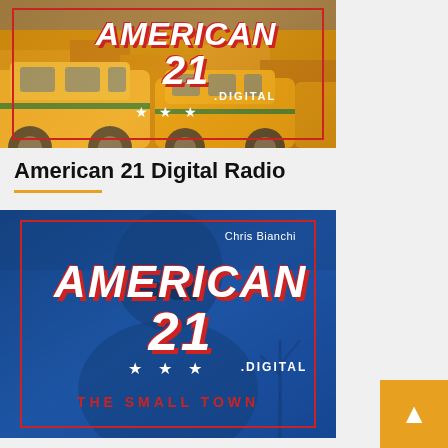[Figure (photo): Photo of yellow taxis/cabs with American 21 Digital Radio branding overlay, red border, white stars, italic bold text saying AMERICAN 21 .DIGITAL]
American 21 Digital Radio
[Figure (photo): Blue-toned photo of a person wearing sunglasses with American 21 Digital Radio branding: AMERICAN 21 .DIGITAL text with red border, white stars, and red text reading THE SMALL TOWN. Chris Bianchi credit in top right.]